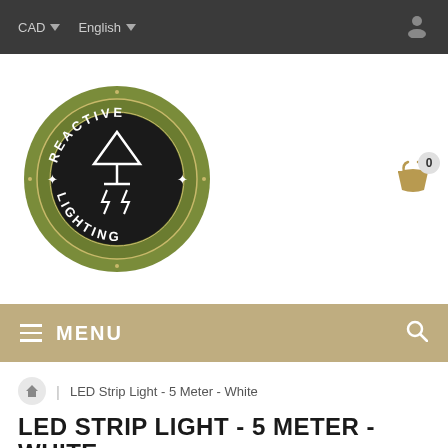CAD  English
[Figure (logo): Reactive Lighting circular logo with olive green ring, black center, and stylized lamp/lightning bolt symbol]
[Figure (infographic): Shopping basket icon with badge showing count 0]
MENU
LED Strip Light - 5 Meter - White
LED STRIP LIGHT - 5 METER - WHITE